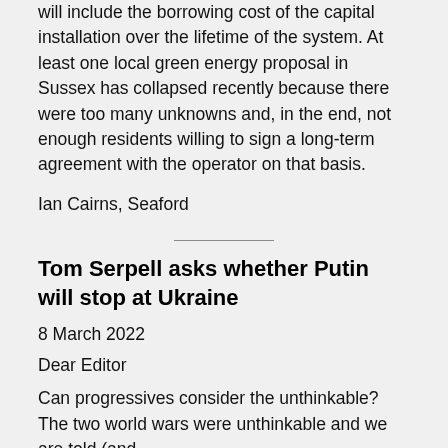will include the borrowing cost of the capital installation over the lifetime of the system. At least one local green energy proposal in Sussex has collapsed recently because there were too many unknowns and, in the end, not enough residents willing to sign a long-term agreement with the operator on that basis.
Ian Cairns, Seaford
Tom Serpell asks whether Putin will stop at Ukraine
8 March 2022
Dear Editor
Can progressives consider the unthinkable? The two world wars were unthinkable and we are told (and